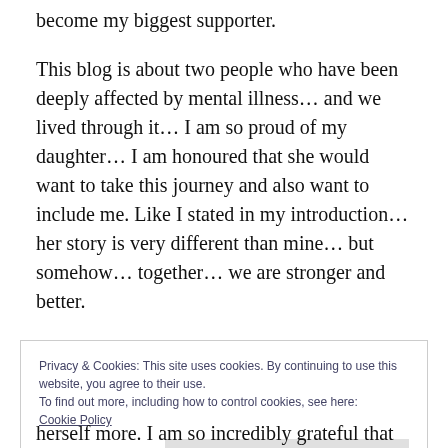become my biggest supporter.
This blog is about two people who have been deeply affected by mental illness... and we lived through it... I am so proud of my daughter... I am honoured that she would want to take this journey and also want to include me. Like I stated in my introduction... her story is very different than mine... but somehow... together... we are stronger and better.
Privacy & Cookies: This site uses cookies. By continuing to use this website, you agree to their use.
To find out more, including how to control cookies, see here:
Cookie Policy
Close and accept
herself more. I am so incredibly grateful that